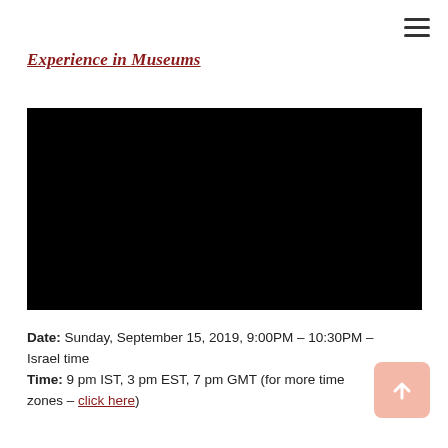Experience in Museums
[Figure (screenshot): Black video player embed area]
Date: Sunday, September 15, 2019, 9:00PM – 10:30PM – Israel time
Time: 9 pm IST, 3 pm EST, 7 pm GMT (for more time zones – click here)